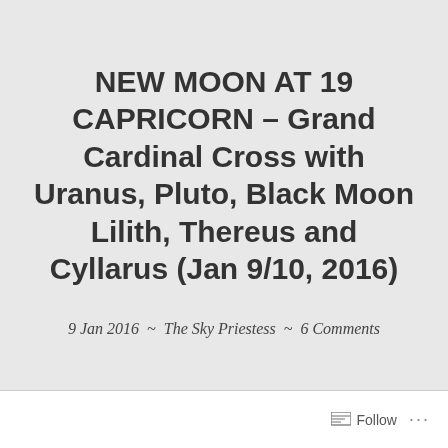NEW MOON AT 19 CAPRICORN – Grand Cardinal Cross with Uranus, Pluto, Black Moon Lilith, Thereus and Cyllarus (Jan 9/10, 2016)
9 Jan 2016  ~  The Sky Priestess  ~  6 Comments